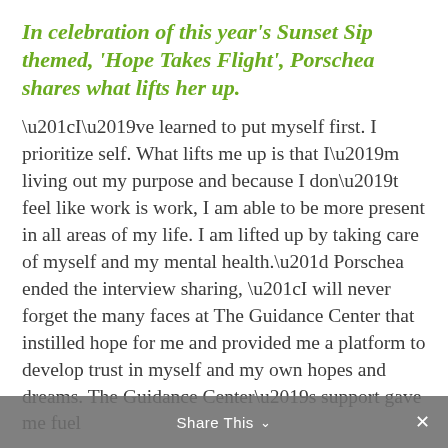In celebration of this year's Sunset Sip themed, 'Hope Takes Flight', Porschea shares what lifts her up.
“I’ve learned to put myself first. I prioritize self. What lifts me up is that I’m living out my purpose and because I don’t feel like work is work, I am able to be more present in all areas of my life. I am lifted up by taking care of myself and my mental health.” Porschea ended the interview sharing, “I will never forget the many faces at The Guidance Center that instilled hope for me and provided me a platform to develop trust in myself and my own hopes and dreams. The Guidance Center’s support gave me fuel
Share This